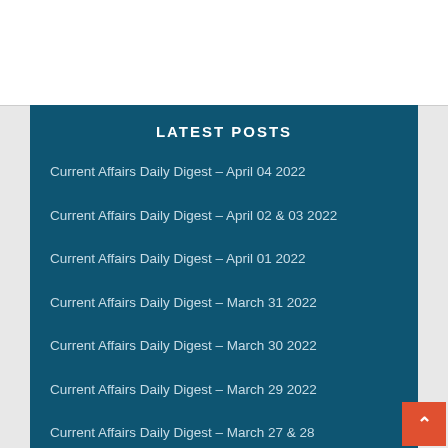LATEST POSTS
Current Affairs Daily Digest – April 04 2022
Current Affairs Daily Digest – April 02 & 03 2022
Current Affairs Daily Digest – April 01 2022
Current Affairs Daily Digest – March 31 2022
Current Affairs Daily Digest – March 30 2022
Current Affairs Daily Digest – March 29 2022
Current Affairs Daily Digest – March 27 & 28